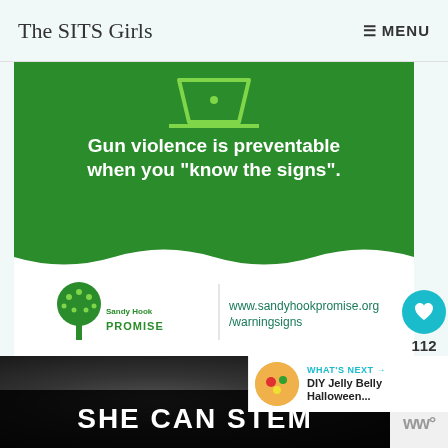The SITS Girls  ≡ MENU
[Figure (infographic): Sandy Hook Promise infographic: green background with laptop icon at top. Text reads 'Gun violence is preventable when you "know the signs".' Bottom white strip shows Sandy Hook Promise tree logo and URL www.sandyhookpromise.org/warningsigns]
112
WHAT'S NEXT → DIY Jelly Belly Halloween...
[Figure (screenshot): Dark chalkboard background with white bold text 'SHE CAN STEM' and a Walmart (ww) logo to the right]